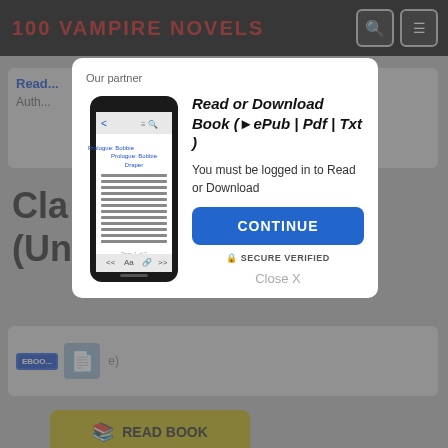100 VAMPIRE NOVELS
[Figure (screenshot): Website screenshot showing '100 Vampire Novels' header with search and menu icons, blurred background content with book entries and a READ BOOK button]
Our partner
[Figure (illustration): Smartphone showing a book reading app with 'Prologue: Bobbie Draper' text visible]
Read or Download Book (▾Pub | Pdf | Txt )
You must be logged in to Read or Download
CONTINUE
🔒 SECURE VERIFIED
Close X